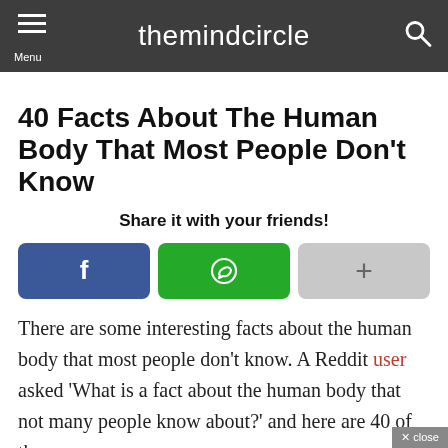themindcircle
40 Facts About The Human Body That Most People Don't Know
Share it with your friends!
[Figure (other): Social sharing buttons: Facebook (blue), WhatsApp (green), More (gray with plus sign)]
There are some interesting facts about the human body that most people don't know. A Reddit user asked 'What is a fact about the human body that not many people know about?' and here are 40 of the responses.